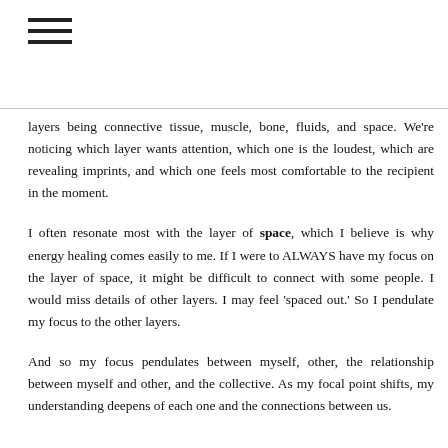[Figure (other): Hamburger menu icon (three horizontal lines)]
layers being connective tissue, muscle, bone, fluids, and space. We're noticing which layer wants attention, which one is the loudest, which are revealing imprints, and which one feels most comfortable to the recipient in the moment.
I often resonate most with the layer of space, which I believe is why energy healing comes easily to me. If I were to ALWAYS have my focus on the layer of space, it might be difficult to connect with some people. I would miss details of other layers. I may feel 'spaced out.' So I pendulate my focus to the other layers.
And so my focus pendulates between myself, other, the relationship between myself and other, and the collective. As my focal point shifts, my understanding deepens of each one and the connections between us.